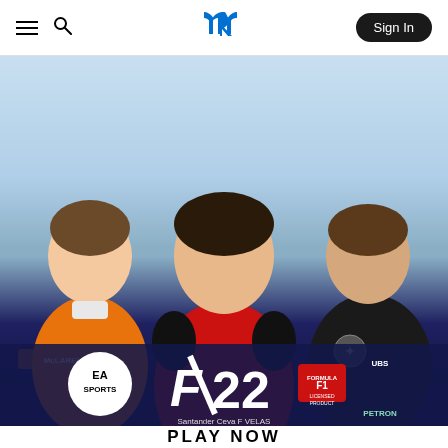PlayStation Store navigation bar with hamburger menu, search icon, PlayStation logo, and Sign In button
[Figure (screenshot): EA Sports F1 22 game cover art showing three Formula 1 drivers: Lando Norris in McLaren orange suit on the left, Charles Leclerc in Ferrari red suit in the center, and George Russell in Mercedes black suit on the right, with a blue sky background. The EA Sports logo and F1 22 branding with Formula 1 Licensed Product badge appear at the bottom of the image, along with team sponsor logos.]
PLAY NOW